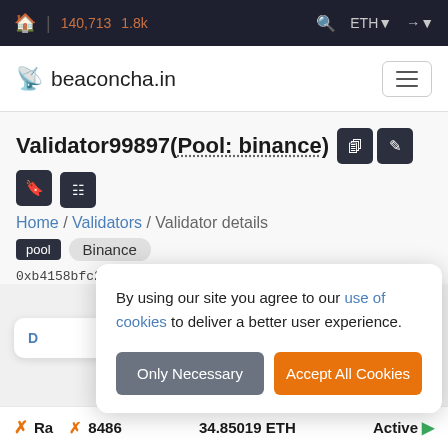🏠 | 140,713  1.8k    🔍  ETH  →
beaconcha.in
Validator99897 (Pool: binance)
Home / Validators / Validator details
pool  Binance
0xb4158bfc2ba0c6dd3e4440ad4afaea6a1821c1…
By using our site you agree to our use of cookies to deliver a better user experience.
Only Necessary  |  Accept All Cookies
Ra  ✗ 8486   34.85019 ETH   Active